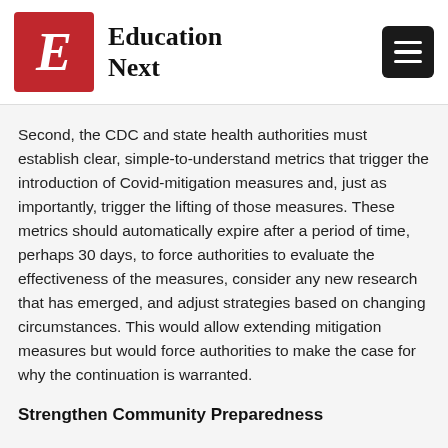[Figure (logo): Education Next logo with red square containing italic E and bold serif text 'Education Next', plus hamburger menu icon in black square on the right]
Second, the CDC and state health authorities must establish clear, simple-to-understand metrics that trigger the introduction of Covid-mitigation measures and, just as importantly, trigger the lifting of those measures. These metrics should automatically expire after a period of time, perhaps 30 days, to force authorities to evaluate the effectiveness of the measures, consider any new research that has emerged, and adjust strategies based on changing circumstances. This would allow extending mitigation measures but would force authorities to make the case for why the continuation is warranted.
Strengthen Community Preparedness